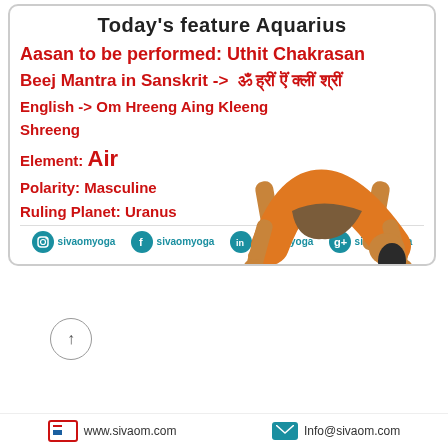Today's feature Aquarius
Aasan to be performed: Uthit Chakrasan
Beej Mantra in Sanskrit -> ॐ ह्रीं ऎं क्लीं श्रीं
English -> Om Hreeng Aing Kleeng Shreeng
Element: Air
Polarity: Masculine
Ruling Planet: Uranus
[Figure (illustration): Person performing Uthit Chakrasan (wheel/bridge yoga pose), figure in orange top and brown shorts, bending backward in arch position]
sivaomyoga (Instagram, Facebook, LinkedIn, Google+)
Need Help? Chat with us
www.sivaom.com | Info@sivaom.com